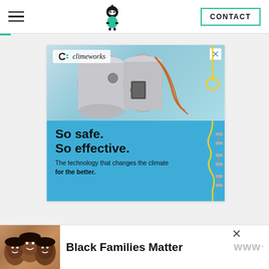Navigation bar with hamburger menu, ninja logo, and CONTACT button
[Figure (screenshot): Climeworks advertisement showing industrial carbon capture machinery photo on top (light blue background with metal pipes/cylinders), and blue lower section with headline 'So safe. So effective.' and subtext 'The technology that changes the climate for the better.' with Climeworks logo top-left and X close button top-right. Yellow decorative squiggle line on right side overlapping both sections.]
[Figure (screenshot): Bottom banner advertisement: photo of smiling family (Black families) on left, bold text 'Black Families Matter' in center, X close button and brand logo (looks like 'w' with dots) on right.]